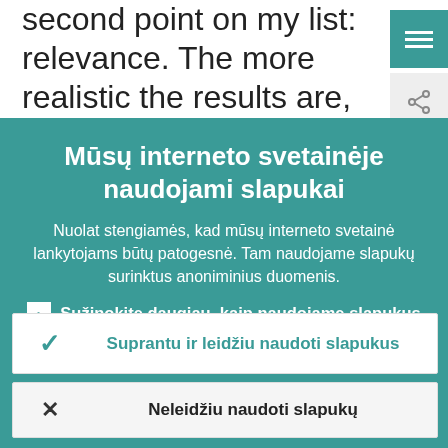second point on my list: relevance. The more realistic the results are, the more relevant they should be. But the notion of relevance may differ according to the
Mūsų interneto svetainėje naudojami slapukai
Nuolat stengiamės, kad mūsų interneto svetainė lankytojams būtų patogesnė. Tam naudojame slapukų surinktus anoniminius duomenis.
› Sužinokite daugiau, kaip naudojame slapukus
✓ Suprantu ir leidžiu naudoti slapukus
✕ Neleidžiu naudoti slapukų